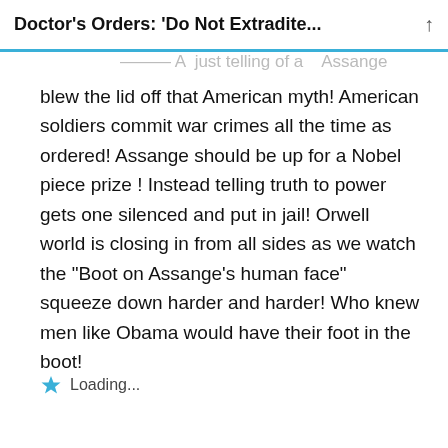Doctor’s Orders: ‘Do Not Extradite...
blew the lid off that American myth! American soldiers commit war crimes all the time as ordered! Assange should be up for a Nobel piece prize ! Instead telling truth to power gets one silenced and put in jail! Orwell world is closing in from all sides as we watch the “Boot on Assange’s human face” squeeze down harder and harder! Who knew men like Obama would have their foot in the boot!
Loading...